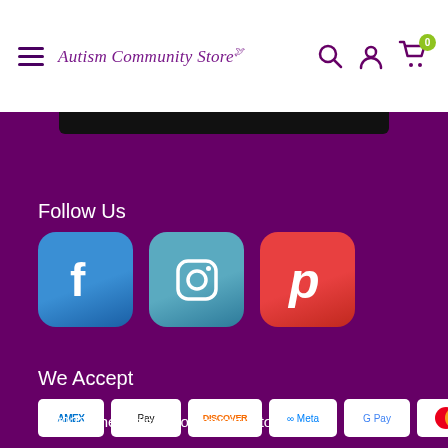Autism Community Store — navigation header with hamburger menu, logo, search, user, and cart icons
Follow Us
[Figure (logo): Facebook, Instagram, and Pinterest social media icons as rounded square buttons (blue, teal-blue, red)]
We Accept
[Figure (logo): Payment method logos: AMEX, Apple Pay, Discover, Meta, Google Pay, Mastercard, Shop Pay, Visa]
© 2022 The Autism Community Store